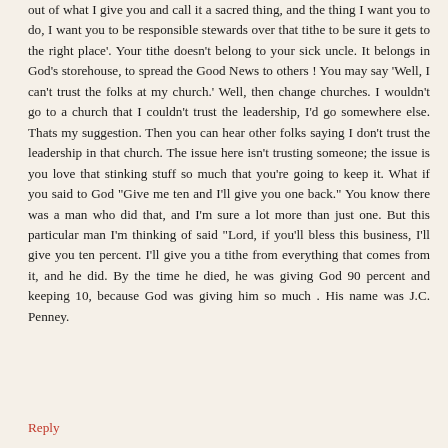out of what I give you and call it a sacred thing, and the thing I want you to do, I want you to be responsible stewards over that tithe to be sure it gets to the right place'. Your tithe doesn't belong to your sick uncle. It belongs in God's storehouse, to spread the Good News to others ! You may say 'Well, I can't trust the folks at my church.' Well, then change churches. I wouldn't go to a church that I couldn't trust the leadership, I'd go somewhere else. Thats my suggestion. Then you can hear other folks saying I don't trust the leadership in that church. The issue here isn't trusting someone; the issue is you love that stinking stuff so much that you're going to keep it. What if you said to God "Give me ten and I'll give you one back." You know there was a man who did that, and I'm sure a lot more than just one. But this particular man I'm thinking of said "Lord, if you'll bless this business, I'll give you ten percent. I'll give you a tithe from everything that comes from it, and he did. By the time he died, he was giving God 90 percent and keeping 10, because God was giving him so much . His name was J.C. Penney.
Reply